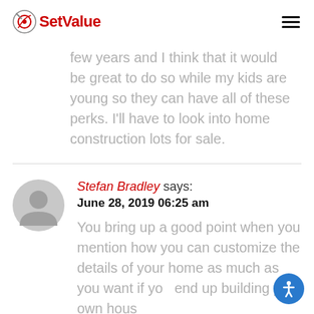SetValue
few years and I think that it would be great to do so while my kids are young so they can have all of these perks. I'll have to look into home construction lots for sale.
Stefan Bradley says:
June 28, 2019 06:25 am
You bring up a good point when you mention how you can customize the details of your home as much as you want if you end up building your own house
[Figure (illustration): Gray circular avatar/user profile icon]